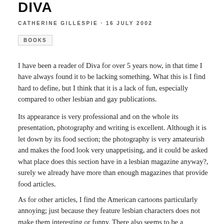DIVA
CATHERINE GILLESPIE · 16 JULY 2002
BOOKS
I have been a reader of Diva for over 5 years now, in that time I have always found it to be lacking something. What this is I find hard to define, but I think that it is a lack of fun, especially compared to other lesbian and gay publications.
Its appearance is very professional and on the whole its presentation, photography and writing is excellent. Although it is let down by its food section; the photography is very amateurish and makes the food look very unappetising, and it could be asked what place does this section have in a lesbian magazine anyway?, surely we already have more than enough magazines that provide food articles.
As for other articles, I find the American cartoons particularly annoying; just because they feature lesbian characters does not make them interesting or funny. There also seems to be a